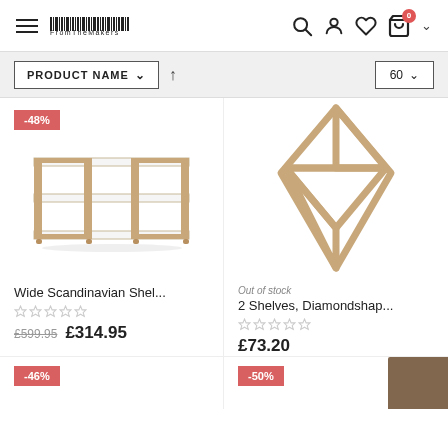FromTheMakers — navigation header with logo, search, account, wishlist, cart (0)
PRODUCT NAME ↑   60
[Figure (photo): White and gold wide shelving unit with 3 shelves and 4 metal frame legs]
[Figure (photo): Gold diamond-shaped wall shelf with two compartments]
Wide Scandinavian Shel...
Out of stock
2 Shelves, Diamondshap...
£599.95  £314.95
£73.20
-46%
-50%